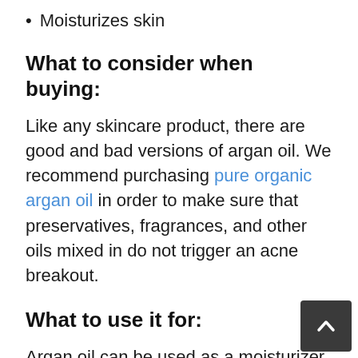Moisturizes skin
What to consider when buying:
Like any skincare product, there are good and bad versions of argan oil. We recommend purchasing pure organic argan oil in order to make sure that preservatives, fragrances, and other oils mixed in do not trigger an acne breakout.
What to use it for:
Argan oil can be used as a moisturizer, shampoo or facial soap. We recommend using a small amount of argan oil as a moisturizer before going to bed every